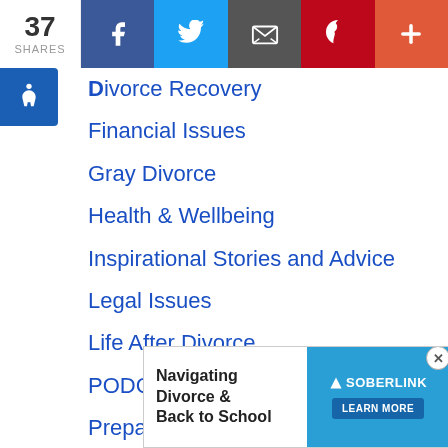37 SHARES | Facebook | Twitter | Email | Pinterest | More
Divorce Recovery
Financial Issues
Gray Divorce
Health & Wellbeing
Inspirational Stories and Advice
Legal Issues
Life After Divorce
PODCASTS
Preparing for Divorce
Relationships and Dating
Remarri[age]
[Figure (screenshot): Advertisement banner: Navigating Divorce & Back to School — SOBERLINK LEARN MORE]